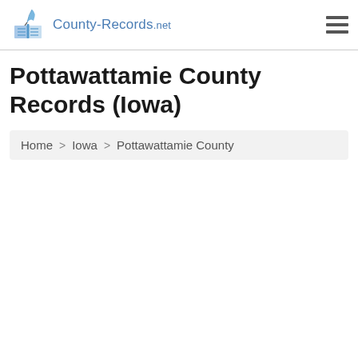County-Records.net
Pottawattamie County Records (Iowa)
Home > Iowa > Pottawattamie County